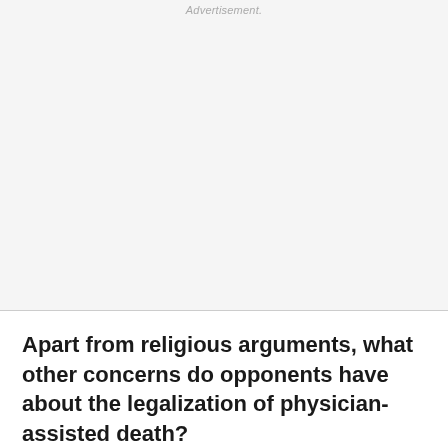Advertisement.
Apart from religious arguments, what other concerns do opponents have about the legalization of physician-assisted death?